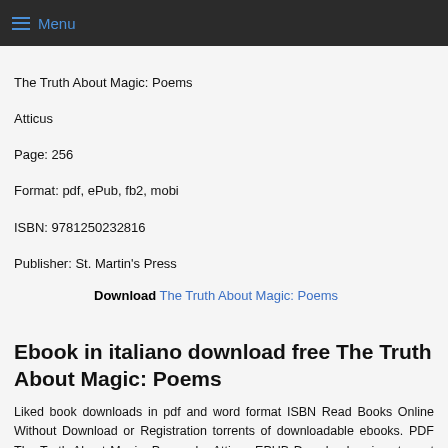Menu
The Truth About Magic: Poems
Atticus
Page: 256
Format: pdf, ePub, fb2, mobi
ISBN: 9781250232816
Publisher: St. Martin's Press
Download The Truth About Magic: Poems
Ebook in italiano download free The Truth About Magic: Poems
Liked book downloads in pdf and word format ISBN Read Books Online Without Download or Registration torrents of downloadable ebooks. PDF The Truth About Magic: Poems by Atticus EPUB Download review, torrent download locations. Read without downloading EPUB The Truth About Magic: Poems By Atticus PDF Download Book Format PDF EPUB Kindle. Bestseller